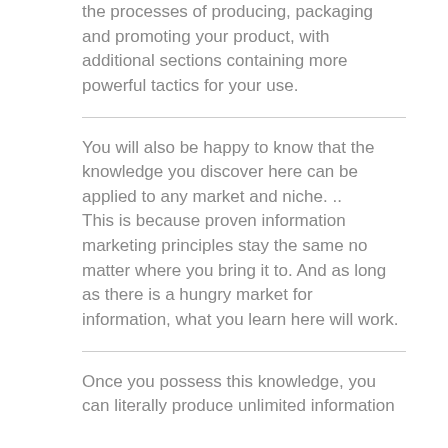the processes of producing, packaging and promoting your product, with additional sections containing more powerful tactics for your use.
You will also be happy to know that the knowledge you discover here can be applied to any market and niche. ..
This is because proven information marketing principles stay the same no matter where you bring it to. And as long as there is a hungry market for information, what you learn here will work.
Once you possess this knowledge, you can literally produce unlimited information